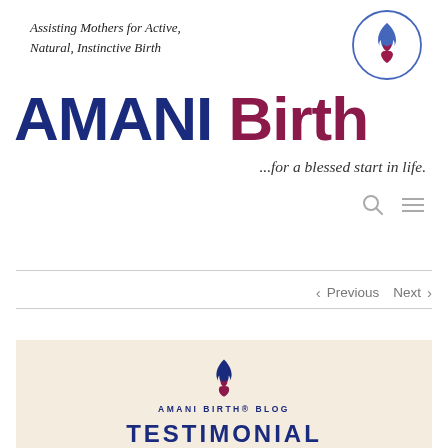Assisting Mothers for Active, Natural, Instinctive Birth
[Figure (logo): AMANI Birth circular logo with flame/figure motif in blue and red]
AMANI Birth
...for a blessed start in life.
< Previous   Next >
[Figure (logo): AMANI Birth logo mark (flame figure in blue and red) above AMANI BIRTH® BLOG label]
TESTIMONIAL